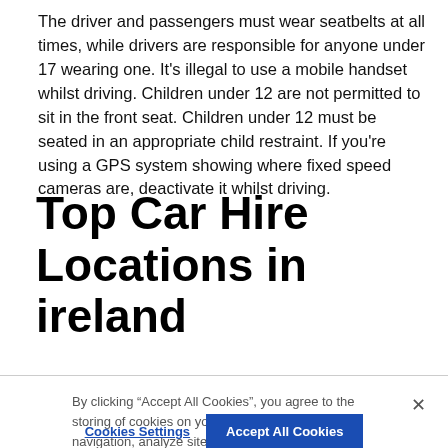The driver and passengers must wear seatbelts at all times, while drivers are responsible for anyone under 17 wearing one. It's illegal to use a mobile handset whilst driving. Children under 12 are not permitted to sit in the front seat. Children under 12 must be seated in an appropriate child restraint. If you're using a GPS system showing where fixed speed cameras are, deactivate it whilst driving.
Top Car Hire Locations in ireland
By clicking "Accept All Cookies", you agree to the storing of cookies on your device to enhance site navigation, analyze site usage, and assist in our marketing efforts. Cookie Policy